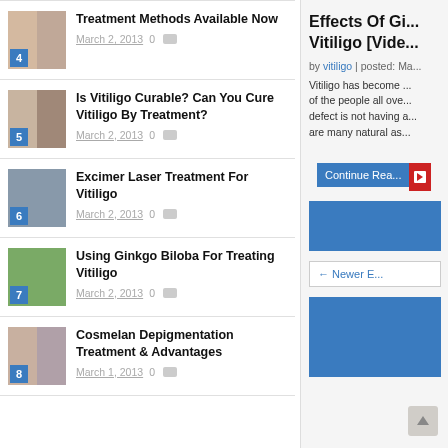4 - Treatment Methods Available Now - March 2, 2013 - 0 comments
5 - Is Vitiligo Curable? Can You Cure Vitiligo By Treatment? - March 2, 2013 - 0 comments
6 - Excimer Laser Treatment For Vitiligo - March 2, 2013 - 0 comments
7 - Using Ginkgo Biloba For Treating Vitiligo - March 2, 2013 - 0 comments
8 - Cosmelan Depigmentation Treatment & Advantages - March 1, 2013 - 0 comments
Effects Of Gi... Vitiligo [Vide...
by vitiligo | posted: Ma...
Vitiligo has become ... of the people all ove... defect is not having a... are many natural as...
Continue Rea...
← Newer E...